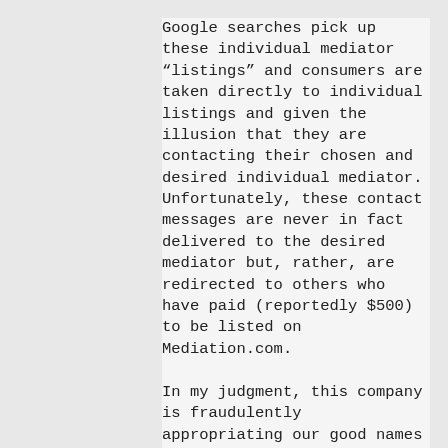Google searches pick up these individual mediator “listings” and consumers are taken directly to individual listings and given the illusion that they are contacting their chosen and desired individual mediator. Unfortunately, these contact messages are never in fact delivered to the desired mediator but, rather, are redirected to others who have paid (reportedly $500) to be listed on Mediation.com.
In my judgment, this company is fraudulently appropriating our good names and professional reputations and directing business intended for a specific selected professional to others, all without our knowledge.